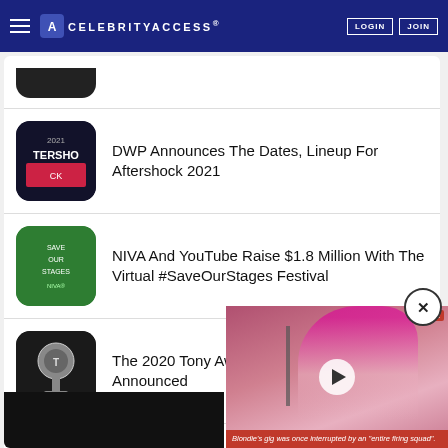CELEBRITYACCESS
DWP Announces The Dates, Lineup For Aftershock 2021
NIVA And YouTube Raise $1.8 Million With The Virtual #SaveOurStages Festival
The 2020 Tony Award Nominations Have Been Announced
Trans-Siberian Orchestra Announces Holiday Livestream
[Figure (screenshot): Video player overlay showing a blonde singer performing with a microphone, with caption: Blondie's gig was once interrupted by an "entire firing squad".]